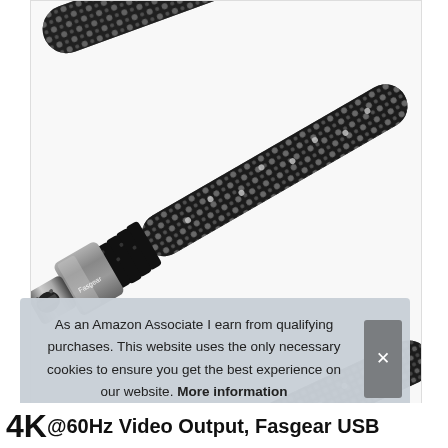[Figure (photo): Close-up photo of two USB-C cable connectors with braided black and gray nylon cable. Upper connector shows 'Fasgear' branding on the metallic gray housing. Lower connector shows '10Gbps' label and USB SuperSpeed logo on the metallic gray housing. Both connectors have ridged black strain relief boots.]
As an Amazon Associate I earn from qualifying purchases. This website uses the only necessary cookies to ensure you get the best experience on our website. More information
4K@60Hz Video Output, Fasgear USB